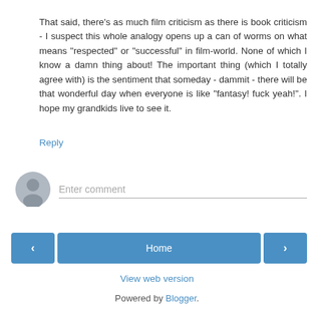That said, there's as much film criticism as there is book criticism - I suspect this whole analogy opens up a can of worms on what means "respected" or "successful" in film-world. None of which I know a damn thing about! The important thing (which I totally agree with) is the sentiment that someday - dammit - there will be that wonderful day when everyone is like "fantasy! fuck yeah!". I hope my grandkids live to see it.
Reply
[Figure (other): User avatar placeholder icon (grey circle with silhouette)]
Enter comment
‹
Home
›
View web version
Powered by Blogger.